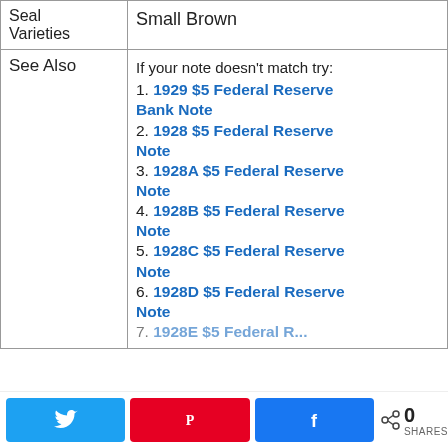|  |  |
| --- | --- |
| Seal Varieties | Small Brown |
| See Also | If your note doesn't match try:
1. 1929 $5 Federal Reserve Bank Note
2. 1928 $5 Federal Reserve Note
3. 1928A $5 Federal Reserve Note
4. 1928B $5 Federal Reserve Note
5. 1928C $5 Federal Reserve Note
6. 1928D $5 Federal Reserve Note
7. 1928E $5 Federal Reserve... |
Twitter share | Pinterest share | Facebook share | 0 SHARES